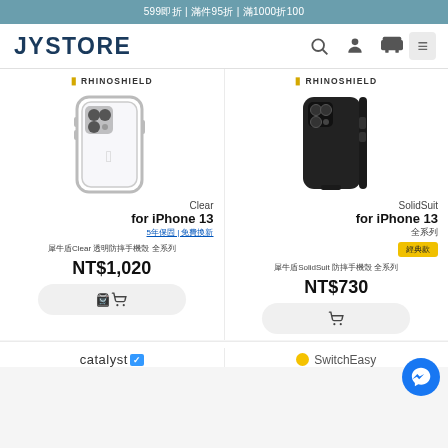599即折 | 滿件95折 | 滿1000折100
JYSTORE
[Figure (photo): RhinoShield Clear case for iPhone 13 product image - transparent case]
Clear
for iPhone 13
5年保固 | 免費換新
犀牛盾Clear 透明防摔手機殼 全系列
NT$1,020
[Figure (photo): RhinoShield SolidSuit case for iPhone 13 product image - black case]
SolidSuit
for iPhone 13
全系列
經典款
犀牛盾SolidSuit 防摔手機殼 全系列
NT$730
[Figure (logo): catalyst logo]
[Figure (logo): SwitchEasy logo]